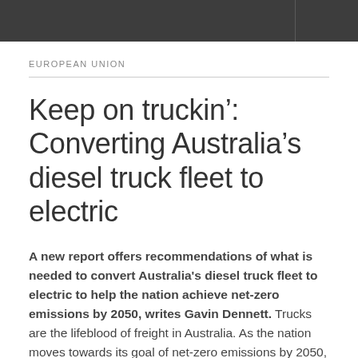EUROPEAN UNION
Keep on truckin': Converting Australia's diesel truck fleet to electric
A new report offers recommendations of what is needed to convert Australia's diesel truck fleet to electric to help the nation achieve net-zero emissions by 2050, writes Gavin Dennett. Trucks are the lifeblood of freight in Australia. As the nation moves towards its goal of net-zero emissions by 2050, increasing focus is placed on its national transport fleet.